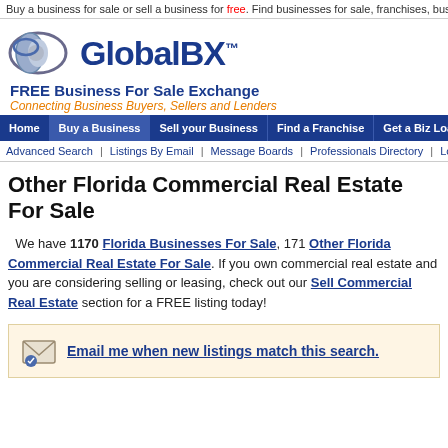Buy a business for sale or sell a business for free. Find businesses for sale, franchises, business brokers &
[Figure (logo): GlobalBX logo with eye icon, FREE Business For Sale Exchange tagline, Connecting Business Buyers, Sellers and Lenders]
Home | Buy a Business | Sell your Business | Find a Franchise | Get a Biz Loan | Resource Center
Advanced Search | Listings By Email | Message Boards | Professionals Directory | Loans & Finan
Other Florida Commercial Real Estate For Sale
We have 1170 Florida Businesses For Sale, 171 Other Florida Commercial Real Estate For Sale. If you own commercial real estate and you are considering selling or leasing, check out our Sell Commercial Real Estate section for a FREE listing today!
Email me when new listings match this search.